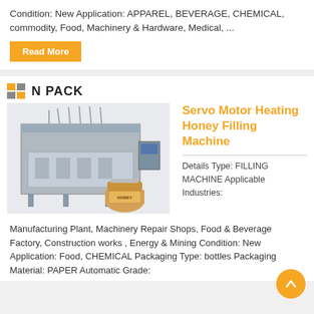Condition: New Application: APPAREL, BEVERAGE, CHEMICAL, commodity, Food, Machinery & Hardware, Medical, ...
Read More
[Figure (photo): N-PACK logo with orange and grey squares, followed by product listing for Servo Motor Heating Honey Filling Machine. Shows large industrial filling machine (stainless steel, multiple nozzles) and a small honey jar.]
Servo Motor Heating Honey Filling Machine
Details Type: FILLING MACHINE Applicable Industries:
Manufacturing Plant, Machinery Repair Shops, Food & Beverage Factory, Construction works , Energy & Mining Condition: New Application: Food, CHEMICAL Packaging Type: bottles Packaging Material: PAPER Automatic Grade: